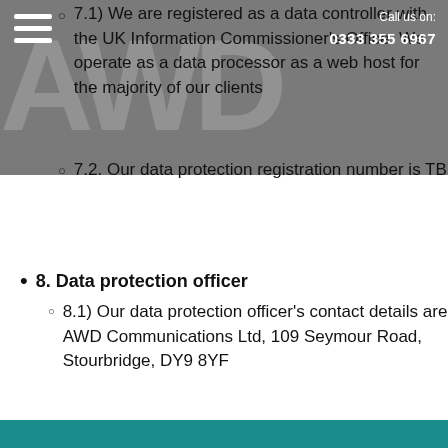Call us on: 0333 355 6967
7.1) We are registered as a data controller with the UK Information Commissioner's Office. We operate as a data processor as a web host for the majority of our clients
7.2. Our data protection registration number is TBD
8. Data protection officer
8.1) Our data protection officer's contact details are: AWD Communications Ltd, 109 Seymour Road, Stourbridge, DY9 8YF